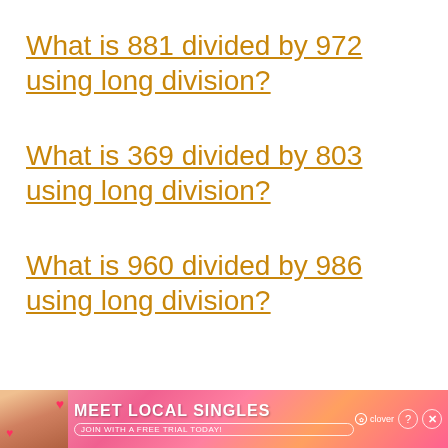What is 881 divided by 972 using long division?
What is 369 divided by 803 using long division?
What is 960 divided by 986 using long division?
[Figure (other): Advertisement banner for 'Meet Local Singles' by Clover dating app, showing a woman photo, pink/orange gradient background, with close and help buttons]